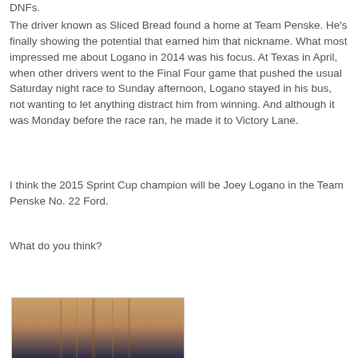DNFs.
The driver known as Sliced Bread found a home at Team Penske. He's finally showing the potential that earned him that nickname. What most impressed me about Logano in 2014 was his focus. At Texas in April, when other drivers went to the Final Four game that pushed the usual Saturday night race to Sunday afternoon, Logano stayed in his bus, not wanting to let anything distract him from winning. And although it was Monday before the race ran, he made it to Victory Lane.
I think the 2015 Sprint Cup champion will be Joey Logano in the Team Penske No. 22 Ford.
What do you think?
[Figure (photo): Partial photo of a person with long reddish-brown hair, visible from the top of the frame.]